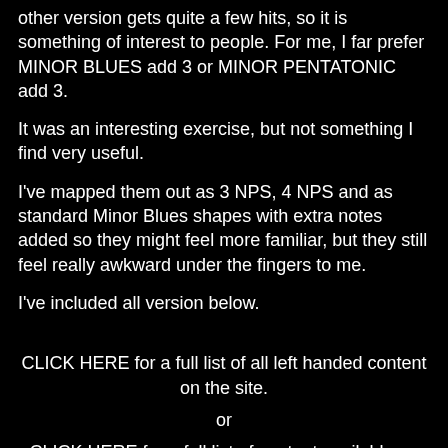other version gets quite a few hits, so it is something of interest to people. For me, I far prefer MINOR BLUES add 3 or MINOR PENTATONIC add 3.
It was an interesting exercise, but not something I find very useful.
I've mapped them out as 3 NPS, 4 NPS and as standard Minor Blues shapes with extra notes added so they might feel more familiar, but they still feel really awkward under the fingers to me.
I've included all version below.
CLICK HERE for a full list of all left handed content on the site.
or
CLICK HERE for a full list of content available on amazon for LEFT HANDED GUITAR and support the blog.